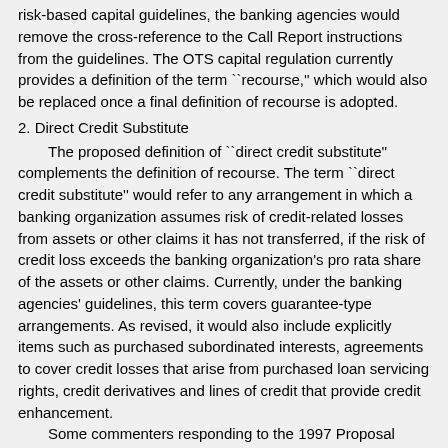risk-based capital guidelines, the banking agencies would remove the cross-reference to the Call Report instructions from the guidelines. The OTS capital regulation currently provides a definition of the term ``recourse,'' which would also be replaced once a final definition of recourse is adopted.
2. Direct Credit Substitute
The proposed definition of ``direct credit substitute'' complements the definition of recourse. The term ``direct credit substitute'' would refer to any arrangement in which a banking organization assumes risk of credit-related losses from assets or other claims it has not transferred, if the risk of credit loss exceeds the banking organization's pro rata share of the assets or other claims. Currently, under the banking agencies' guidelines, this term covers guarantee-type arrangements. As revised, it would also include explicitly items such as purchased subordinated interests, agreements to cover credit losses that arise from purchased loan servicing rights, credit derivatives and lines of credit that provide credit enhancement.
Some commenters responding to the 1997 Proposal suggested that the definition of ``direct credit substitute'' should exclude risk positions that are not part of an asset securitization. Although direct credit substitutes commonly are used in asset securitizations, enhancements involving similar credit risk exposure can arise in other contexts and should receive the same capital treatment as enhancements associated with securitizations.
Some commenters also objected to the 1997 Proposal's treatment of